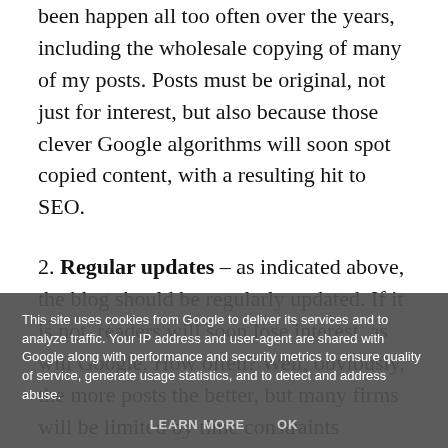been happen all too often over the years, including the wholesale copying of many of my posts. Posts must be original, not just for interest, but also because those clever Google algorithms will soon spot copied content, with a resulting hit to SEO.
2. Regular updates – as indicated above, the blog should be regularly updated. If it is not, readers will soon lose interest, as will Google. How often? Well, obviously, the more posts the better, but many firms will be limited by time constraints (blogging can be very time-consuming) and /or
This site uses cookies from Google to deliver its services and to analyze traffic. Your IP address and user-agent are shared with Google along with performance and security metrics to ensure quality of service, generate usage statistics, and to detect and address abuse.
LEARN MORE   OK